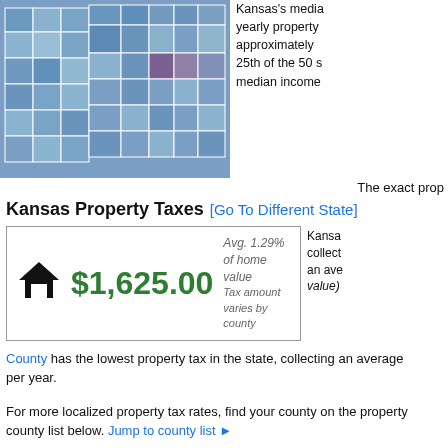[Figure (map): Map of Kansas counties color-coded by property tax rates, showing various shades of blue and purple.]
Kansas's median yearly property approximately 25th of the 50 s median income
The exact prop
Kansas Property Taxes [Go To Different State]
$1,625.00 Avg. 1.29% of home value Tax amount varies by county
County has the lowest property tax in the state, collecting an average per year.
For more localized property tax rates, find your county on the property county list below. Jump to county list ►
Kansas Property Tax Rates
Property taxes are collected on a county level, and each county in Ka